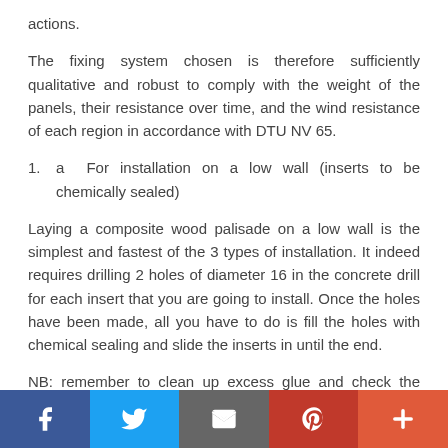actions.
The fixing system chosen is therefore sufficiently qualitative and robust to comply with the weight of the panels, their resistance over time, and the wind resistance of each region in accordance with DTU NV 65.
a For installation on a low wall (inserts to be chemically sealed)
Laying a composite wood palisade on a low wall is the simplest and fastest of the 3 types of installation. It indeed requires drilling 2 holes of diameter 16 in the concrete drill for each insert that you are going to install. Once the holes have been made, all you have to do is fill the holes with chemical sealing and slide the inserts in until the end.
NB: remember to clean up excess glue and check the plumpness of your inserts.
Social share bar: Facebook, Twitter, Email, Pinterest, More